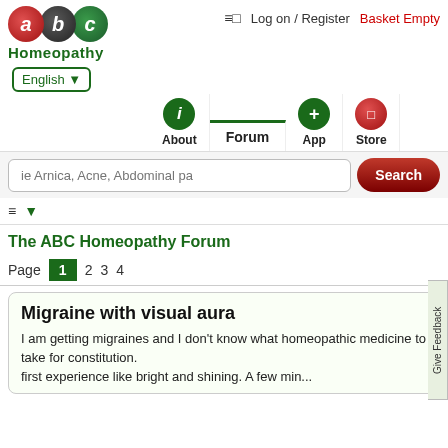[Figure (logo): ABC Homeopathy logo with three colored circles (red a, dark b, green c) and text 'Homeopathy']
≡□   Log on / Register   Basket Empty
English ▼
[Figure (screenshot): Navigation bar with About (i icon), Forum (active tab), App (+icon), Store (red circle icon)]
ie Arnica, Acne, Abdominal pa   Search
≡ ▼
The ABC Homeopathy Forum
Page 1 2 3 4
Migraine with visual aura
I am getting migraines and I don't know what homeopathic medicine to take for constitution. first experience like bright and shining. A few min...